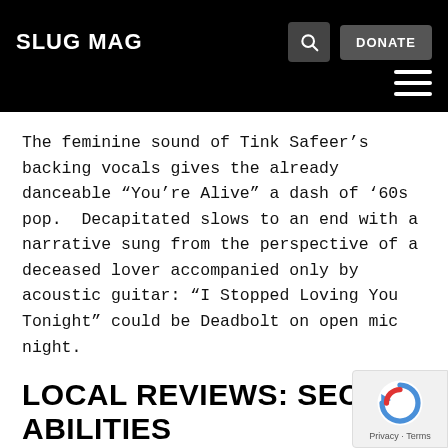SLUG MAG
The feminine sound of Tink Safeer’s backing vocals gives the already danceable “You’re Alive” a dash of ’60s pop. Decapitated slows to an end with a narrative sung from the perspective of a deceased lover accompanied only by acoustic guitar: “I Stopped Loving You Tonight” could be Deadbolt on open mic night.
LOCAL REVIEWS: SECRET ABILITIES
By Steve Richardson
March 21, 2013
SHARE THIS: